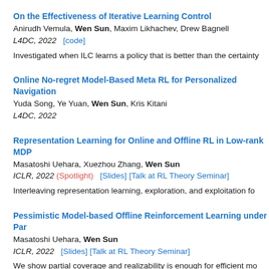On the Effectiveness of Iterative Learning Control
Anirudh Vemula, Wen Sun, Maxim Likhachev, Drew Bagnell
L4DC, 2022   [code]
Investigated when ILC learns a policy that is better than the certainty
Online No-regret Model-Based Meta RL for Personalized Navigation
Yuda Song, Ye Yuan, Wen Sun, Kris Kitani
L4DC, 2022
Representation Learning for Online and Offline RL in Low-rank MDP
Masatoshi Uehara, Xuezhou Zhang, Wen Sun
ICLR, 2022 (Spotlight)   [Slides] [Talk at RL Theory Seminar]
Interleaving representation learning, exploration, and exploitation fo
Pessimistic Model-based Offline Reinforcement Learning under Par
Masatoshi Uehara, Wen Sun
ICLR, 2022   [Slides] [Talk at RL Theory Seminar]
We show partial coverage and realizability is enough for efficient mo